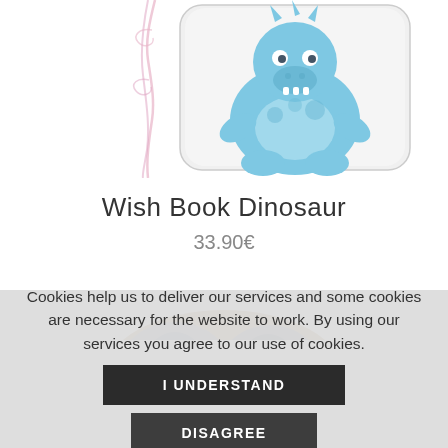[Figure (photo): A product photo of a decorative tin box with a blue cartoon dinosaur illustration, partially visible at the top of the page. White background with pink ribbon elements.]
Wish Book Dinosaur
33.90€
[Figure (photo): Partial view of a second product at the bottom, appears to be a round/oval shaped item with blue and brown colors, partially cropped.]
Cookies help us to deliver our services and some cookies are necessary for the website to work. By using our services you agree to our use of cookies.
I UNDERSTAND
DISAGREE